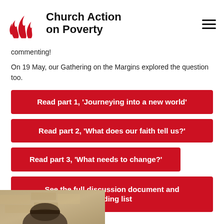Church Action on Poverty
commenting!
On 19 May, our Gathering on the Margins explored the question too.
Read part 1, 'Journeying into a new world'
Read part 2, 'What does our faith tell us?'
Read part 3, 'What needs to change?'
See the full discussion document and reading list
[Figure (photo): Partial photo of a person wearing a hat, visible at the bottom of the page, with a stone wall background]